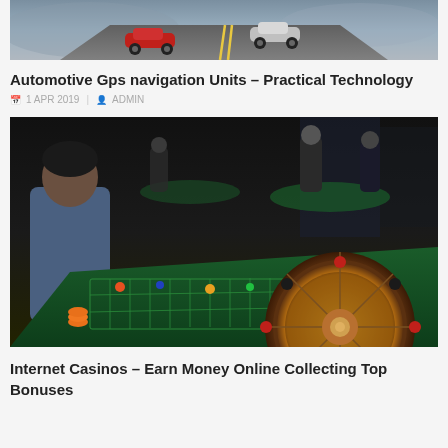[Figure (photo): Two sports cars (one red, one silver) driving on a road with yellow center lines, aerial view]
Automotive Gps navigation Units – Practical Technology
1 APR 2019 | ADMIN
[Figure (photo): Casino scene with roulette wheel in foreground and people playing at gaming tables in background, dark ambiance]
Internet Casinos – Earn Money Online Collecting Top Bonuses